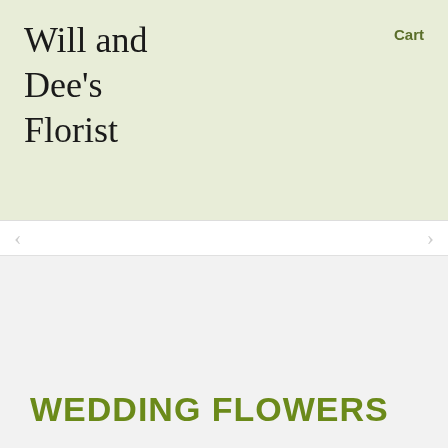Will and Dee's Florist
Cart
WEDDING FLOWERS